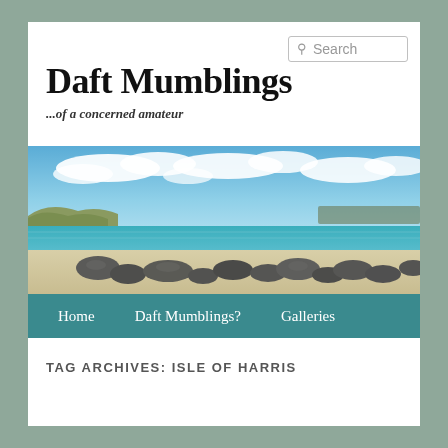Search
Daft Mumblings
...of a concerned amateur
[Figure (photo): Coastal beach scene with white sand, rocks in foreground, turquoise sea in middle distance, and blue sky with white clouds above. Dunes with grass visible on left.]
Home  Daft Mumblings?  Galleries
TAG ARCHIVES: ISLE OF HARRIS